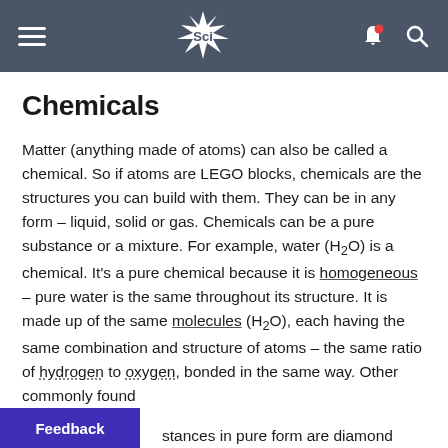Sci
Chemicals
Matter (anything made of atoms) can also be called a chemical. So if atoms are LEGO blocks, chemicals are the structures you can build with them. They can be in any form – liquid, solid or gas. Chemicals can be a pure substance or a mixture. For example, water (H₂O) is a chemical. It's a pure chemical because it is homogeneous – pure water is the same throughout its structure. It is made up of the same molecules (H₂O), each having the same combination and structure of atoms – the same ratio of hydrogen to oxygen, bonded in the same way. Other commonly found substances in pure form are diamond